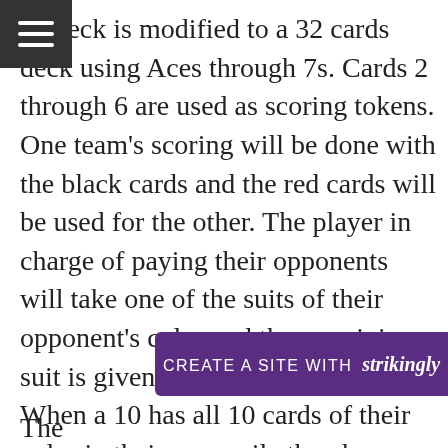[Figure (other): Hamburger menu icon (three horizontal white lines on dark grey/black square background)]
he deck is modified to a 32 cards deck using Aces through 7s. Cards 2 through 6 are used as scoring tokens. One team’s scoring will be done with the black cards and the red cards will be used for the other. The player in charge of paying their opponents will take one of the suits of their opponent’s color and the remaining suit is given to the score collector. When a 10 has all 10 cards of their color in their score pile they have won.
[Figure (other): Purple banner overlay with text: CREATE A SITE WITH strikingly]
The